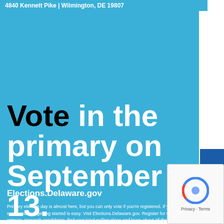4840 Kennett Pike | Wilmington, DE 19807
[Figure (infographic): Blue background advertisement panel with large bold text reading 'Vote in the primary on September 13.' with website Elections.Delaware.gov and body text about voter registration and election information.]
Primary election day is almost here, but you can only vote if you're registered. If you're not registered, getting started is easy. Visit Elections.Delaware.gov. Register for the primary, research candidates, find your local polling place and learn about all the ways you can vote—including absentee voting, early voting and voting by mail. You have a voice. Be heard!